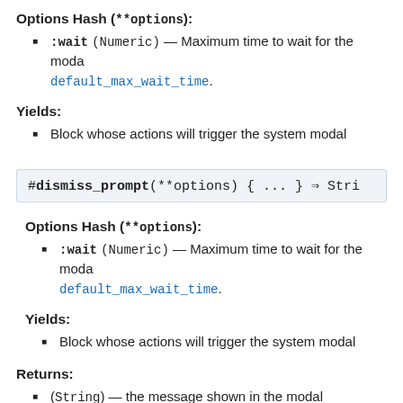Options Hash (**options):
:wait (Numeric) — Maximum time to wait for the moda… default_max_wait_time.
Yields:
Block whose actions will trigger the system modal
#dismiss_prompt(**options) { ... } ⇒ Stri
Options Hash (**options):
:wait (Numeric) — Maximum time to wait for the moda… default_max_wait_time.
Yields:
Block whose actions will trigger the system modal
Returns:
(String) — the message shown in the modal